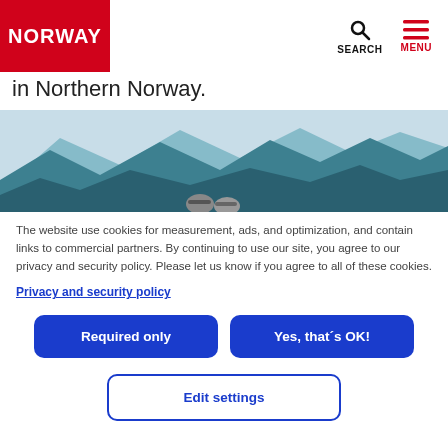NORWAY | SEARCH | MENU
in Northern Norway.
[Figure (photo): Panoramic photo of two people with caps against a mountainous backdrop with blue-tinted mountains and a pale sky, cropped to show only the upper portion.]
The website use cookies for measurement, ads, and optimization, and contain links to commercial partners. By continuing to use our site, you agree to our privacy and security policy. Please let us know if you agree to all of these cookies.
Privacy and security policy
Required only
Yes, that´s OK!
Edit settings